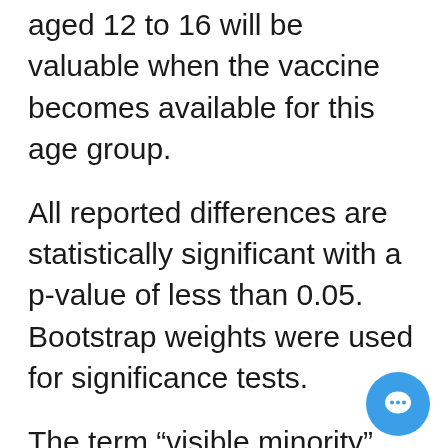aged 12 to 16 will be valuable when the vaccine becomes available for this age group.
All reported differences are statistically significant with a p-value of less than 0.05. Bootstrap weights were used for significance tests.
The term “visible minority” refers to Canadians designated as visible minorities as per the definition in the Employment Equity Act. The act defines minorities as “persons other than Aboriginal people who are non-Caucasian in race or non-white in